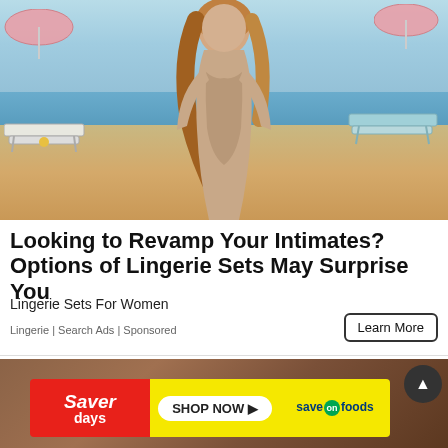[Figure (photo): Woman in beige swimsuit posing on a sandy beach with pink umbrellas and lounge chairs in the background, blue sky and sea visible]
Looking to Revamp Your Intimates? Options of Lingerie Sets May Surprise You
Lingerie Sets For Women
Lingerie | Search Ads | Sponsored
Learn More
[Figure (photo): Partial photo at bottom; Saver days advertisement banner with red left panel showing 'Saver days', yellow center with 'SHOP NOW' button, and yellow right panel with 'save on foods' logo]
Saver days | SHOP NOW | save on foods